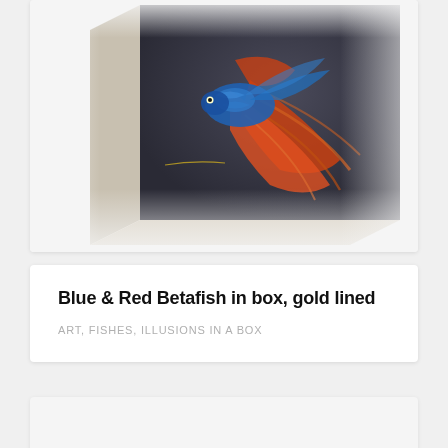[Figure (photo): A dark-toned decorative box with a painting of a blue and red betta fish with flowing fins, shown at an angle. The artwork features vivid blue and orange-red colors against a dark background. The box appears to have a gold-lined edge.]
Blue & Red Betafish in box, gold lined
ART, FISHES, ILLUSIONS IN A BOX
[Figure (photo): Partial view of another card or image at the bottom of the page, showing only a small portion.]